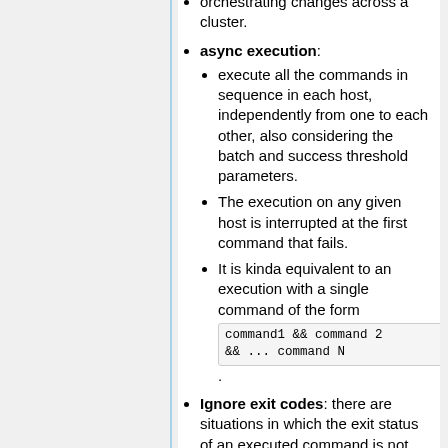orchestrating changes across a cluster.
async execution:
execute all the commands in sequence in each host, independently from one to each other, also considering the batch and success threshold parameters.
The execution on any given host is interrupted at the first command that fails.
It is kinda equivalent to an execution with a single command of the form command1 && command 2 && ... command N.
Ignore exit codes: there are situations in which the exit status of an executed command is not